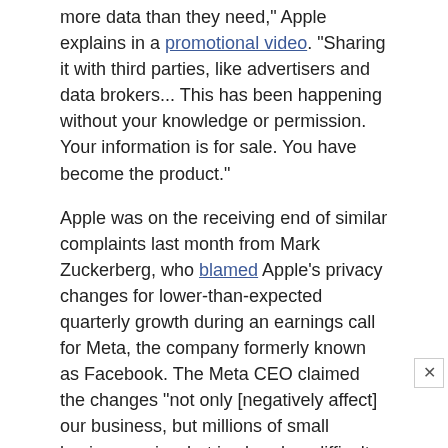more data than they need," Apple explains in a promotional video. "Sharing it with third parties, like advertisers and data brokers... This has been happening without your knowledge or permission. Your information is for sale. You have become the product."
Apple was on the receiving end of similar complaints last month from Mark Zuckerberg, who blamed Apple's privacy changes for lower-than-expected quarterly growth during an earnings call for Meta, the company formerly known as Facebook. The Meta CEO claimed the changes "not only [negatively affect] our business, but millions of small businesses in what is already a difficult time for them in the economy."
According to one report, Apple has cost social media companies including Meta, Twitter, Snapchat, and YouTube, nearly $10 billion in revenue in the second half of 2021. But Peloton has more to be concerned about when it comes to Apple, which this week expanded Fitness+, its own home fitness service offering, to 15 additional countries.
Peloton shares have dropped nearly 20% since Apple